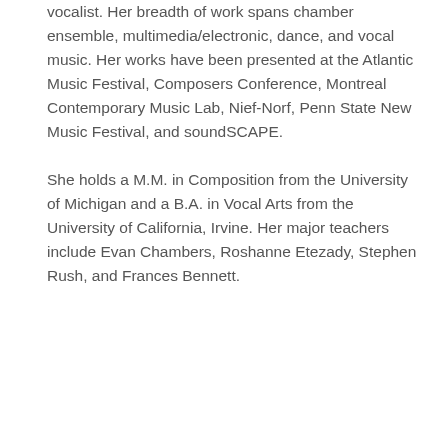vocalist. Her breadth of work spans chamber ensemble, multimedia/electronic, dance, and vocal music. Her works have been presented at the Atlantic Music Festival, Composers Conference, Montreal Contemporary Music Lab, Nief-Norf, Penn State New Music Festival, and soundSCAPE. She holds a M.M. in Composition from the University of Michigan and a B.A. in Vocal Arts from the University of California, Irvine. Her major teachers include Evan Chambers, Roshanne Etezady, Stephen Rush, and Frances Bennett.